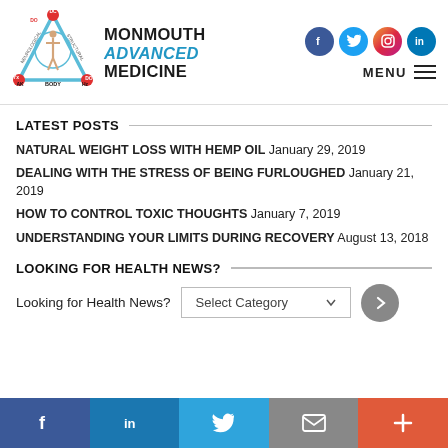[Figure (logo): Monmouth Advanced Medicine logo — triangle with human figure, labeled DC, DO, Yx, AK, Hz, BODY]
MONMOUTH ADVANCED MEDICINE
[Figure (infographic): Social media icons: Facebook, Twitter, Instagram, LinkedIn]
[Figure (infographic): MENU hamburger icon]
LATEST POSTS
NATURAL WEIGHT LOSS WITH HEMP OIL January 29, 2019
DEALING WITH THE STRESS OF BEING FURLOUGHED January 21, 2019
HOW TO CONTROL TOXIC THOUGHTS January 7, 2019
UNDERSTANDING YOUR LIMITS DURING RECOVERY August 13, 2018
LOOKING FOR HEALTH NEWS?
Looking for Health News?  Select Category
f  in  (bird/twitter)  (envelope)  +